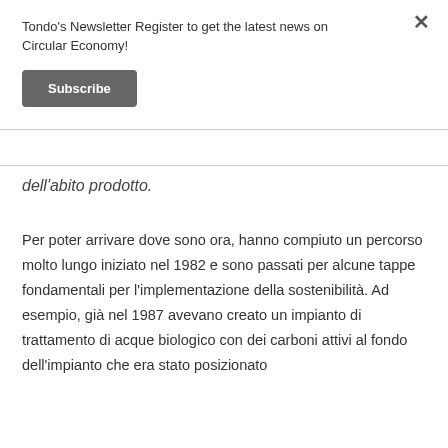Tondo's Newsletter Register to get the latest news on Circular Economy!
Subscribe
dell'abito prodotto.
Per poter arrivare dove sono ora, hanno compiuto un percorso molto lungo iniziato nel 1982 e sono passati per alcune tappe fondamentali per l'implementazione della sostenibilità. Ad esempio, già nel 1987 avevano creato un impianto di trattamento di acque biologico con dei carboni attivi al fondo dell'impianto che era stato posizionato